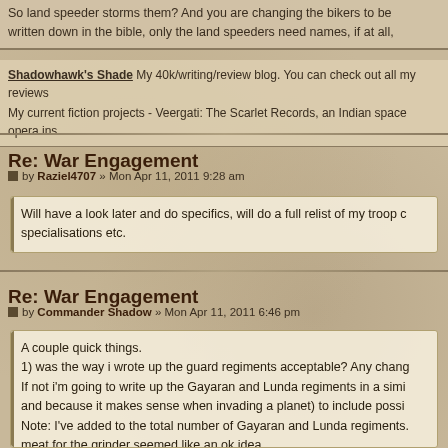So land speeder storms them? And you are changing the bikers to be written down in the bible, only the land speeders need names, if at all,
Shadowhawk's Shade My 40k/writing/review blog. You can check out all my reviews
My current fiction projects - Veergati: The Scarlet Records, an Indian space opera ins
Re: War Engagement
by Raziel4707 » Mon Apr 11, 2011 9:28 am
Will have a look later and do specifics, will do a full relist of my troop c specialisations etc.
Re: War Engagement
by Commander Shadow » Mon Apr 11, 2011 6:46 pm
A couple quick things.
1) was the way i wrote up the guard regiments acceptable? Any chang If not i'm going to write up the Gayaran and Lunda regiments in a simi and because it makes sense when invading a planet) to include possi Note: I've added to the total number of Gayaran and Lunda regiments meat for the grinder seemed like an ok idea.